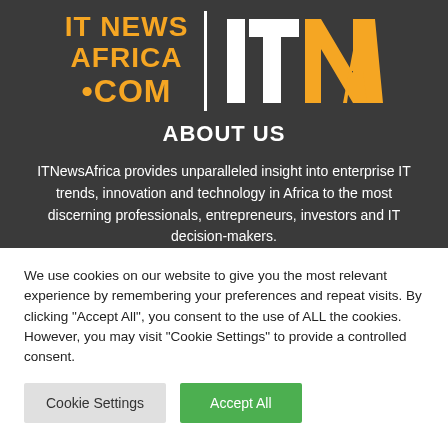[Figure (logo): IT News Africa logo with orange text and stylized ITNA icon in white/orange on dark background]
ABOUT US
ITNewsAfrica provides unparalleled insight into enterprise IT trends, innovation and technology in Africa to the most discerning professionals, entrepreneurs, investors and IT decision-makers.
We use cookies on our website to give you the most relevant experience by remembering your preferences and repeat visits. By clicking "Accept All", you consent to the use of ALL the cookies. However, you may visit "Cookie Settings" to provide a controlled consent.
Cookie Settings | Accept All